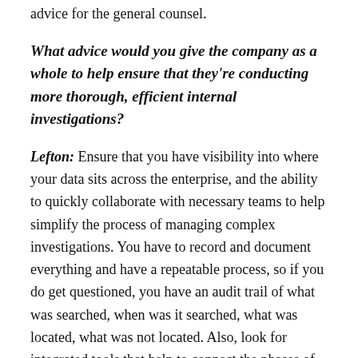have to be vigilant on all matters. That would be my advice for the general counsel.
What advice would you give the company as a whole to help ensure that they're conducting more thorough, efficient internal investigations?
Lefton: Ensure that you have visibility into where your data sits across the enterprise, and the ability to quickly collaborate with necessary teams to help simplify the process of managing complex investigations. You have to record and document everything and have a repeatable process, so if you do get questioned, you have an audit trail of what was searched, when was it searched, what was located, what was not located. Also, look for integrated tools that help to connect the phases of